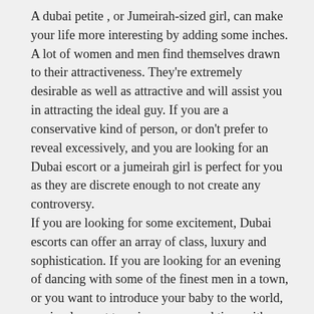A dubai petite , or Jumeirah-sized girl, can make your life more interesting by adding some inches. A lot of women and men find themselves drawn to their attractiveness. They’re extremely desirable as well as attractive and will assist you in attracting the ideal guy. If you are a conservative kind of person, or don’t prefer to reveal excessively, and you are looking for an Dubai escort or a jumeirah girl is perfect for you as they are discrete enough to not create any controversy.
If you are looking for some excitement, Dubai escorts can offer an array of class, luxury and sophistication. If you are looking for an evening of dancing with some of the finest men in a town, or you want to introduce your baby to the world, or simply want to enjoy some good time with your dear family or close friends, Dubai is the place for you. Dubai is an elite city for escorts because of its rich culture as well as its exotic style.
Speed My Mac is a free program that tests your computer and recommends ways to boost its speed. Since macs are widely used today by more people and there’s a huge opportunity for increase in speed